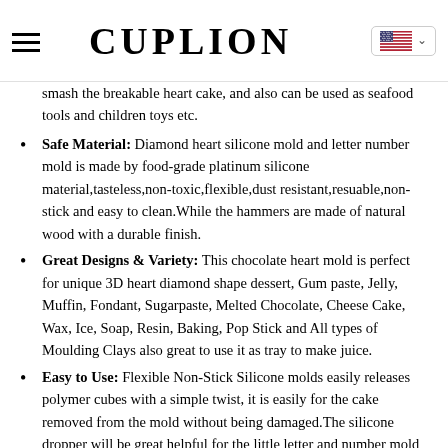CUPLION
smash the breakable heart cake, and also can be used as seafood tools and children toys etc.
Safe Material: Diamond heart silicone mold and letter number mold is made by food-grade platinum silicone material,tasteless,non-toxic,flexible,dust resistant,resuable,non-stick and easy to clean.While the hammers are made of natural wood with a durable finish.
Great Designs & Variety: This chocolate heart mold is perfect for unique 3D heart diamond shape dessert, Gum paste, Jelly, Muffin, Fondant, Sugarpaste, Melted Chocolate, Cheese Cake, Wax, Ice, Soap, Resin, Baking, Pop Stick and All types of Moulding Clays also great to use it as tray to make juice.
Easy to Use: Flexible Non-Stick Silicone molds easily releases polymer cubes with a simple twist, it is easily for the cake removed from the mold without being damaged.The silicone dropper will be great helpful for the little letter and number mold The silicone heart mold can be